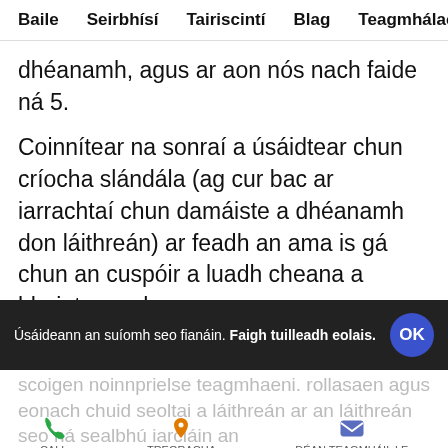Baile  Seirbhísí  Tairiscintí  Blag  Teagmhálacha
dhéanamh, agus ar aon nós nach faide ná 5.
Coinnítear na sonraí a úsáidtear chun críocha slándála (ag cur bac ar iarrachtaí chun damáiste a dhéanamh don láithreán) ar feadh an ama is gá chun an cuspóir a luadh cheana a bhaint amach.
3 – Sonraí curtha ar fáil ag an úsáideoir
Úsáideann an suíomh seo fianáin. Faigh tuilleadh eolais.
CALL  TREORACHA  DÉAN TEAGMHÁIL LE